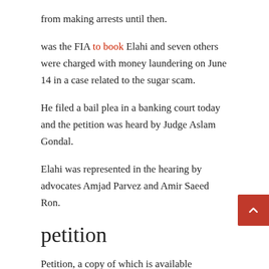from making arrests until then.
was the FIA to book Elahi and seven others were charged with money laundering on June 14 in a case related to the sugar scam.
He filed a bail plea in a banking court today and the petition was heard by Judge Aslam Gondal.
Elahi was represented in the hearing by advocates Amjad Parvez and Amir Saeed Ron.
petition
Petition, a copy of which is available don.com said that “it is [an] The unfortunate feature of the political history of Pakistan inherited from the colonial rule is that [the] The process of law has been misused as a tool of political hunting.